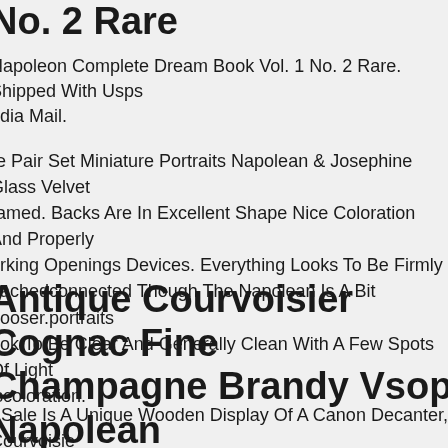No. 2 Rare
Napoleon Complete Dream Book Vol. 1 No. 2 Rare. Shipped With Usps Media Mail.
Rare Pair Set Miniature Portraits Napolean & Josephine Glass Velvet Framed. Backs Are In Excellent Shape Nice Coloration And Properly Working Openings Devices. Everything Looks To Be Firmly Attachedconnected Though The Napolean Is A Bit Looser.portraits Look To Be Clear And Generally Clean With A Few Spots Of Light Discoloration.
Antique Courvoisier Cognac Fine Champagne Brandy Vsop Napolean Canon Decanter Wo
r Sale Is A Unique Wooden Display Of A Canon Decanter, Courvoisier Bottle Cognac Fine Champagne. Made In France. It Is Empty Now However. And There Is No Seal Capping The Bottle. It Is Considered T